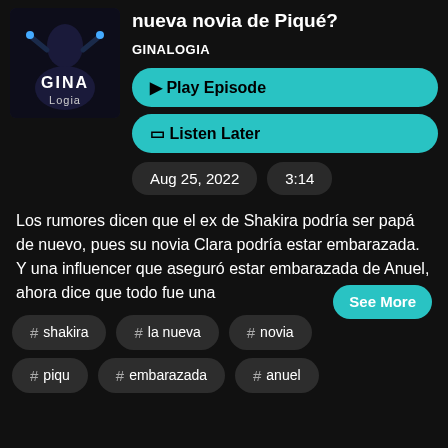nueva novia de Piqué?
GINALOGIA
Play Episode
Listen Later
Aug 25, 2022
3:14
Los rumores dicen que el ex de Shakira podría ser papá de nuevo, pues su novia Clara podría estar embarazada. Y una influencer que aseguró estar embarazada de Anuel, ahora dice que todo fue una
See More
# shakira
# la nueva
# novia
# piqu
# embarazada
# anuel